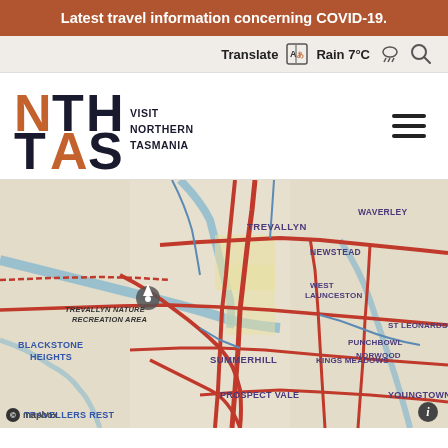Latest travel information concerning COVID-19.
Translate  Rain 7°C  🔍
[Figure (logo): NTH TAS - Visit Northern Tasmania logo with orange N and orange triangle A]
[Figure (map): Mapbox street map showing Launceston, Tasmania area including suburbs: Trevallyn, Waverley, Newstead, West Launceston, Blackstone Heights, Summerhill, Kings Meadows, Punchbowl, Norwood, Youngtown, Prospect Vale, Travellers Rest, St Leonards. A marker is shown at Trevallyn Nature Recreation Area. Roads shown in red and blue on a beige/cream background.]
© Mapbox